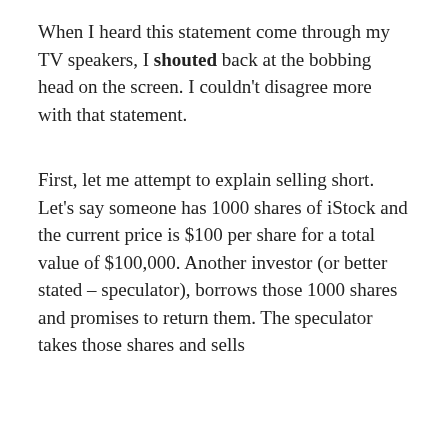When I heard this statement come through my TV speakers, I shouted back at the bobbing head on the screen. I couldn't disagree more with that statement.
First, let me attempt to explain selling short. Let's say someone has 1000 shares of iStock and the current price is $100 per share for a total value of $100,000. Another investor (or better stated – speculator), borrows those 1000 shares and promises to return them. The speculator takes those shares and sells